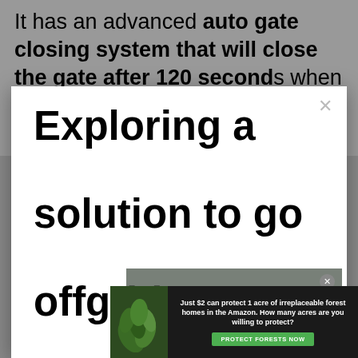It has an advanced auto gate closing system that will close the gate after 120 seconds when you forget. So it will ensure security if you
[Figure (screenshot): Modal popup overlay on a webpage with large bold text reading 'Exploring a solution to go offgrid?' with a close (X) button in the top right corner]
[Figure (screenshot): Embedded video player showing 'No compatible source was found for this media.' error message with a close button]
[Figure (screenshot): Advertisement banner: 'Just $2 can protect 1 acre of irreplaceable forest homes in the Amazon. How many acres are you willing to protect?' with 'PROTECT FORESTS NOW' green button and forest leaf imagery]